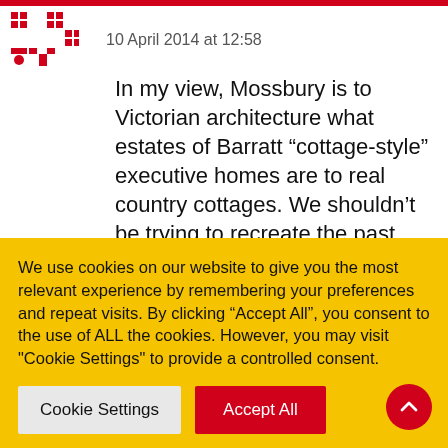10 April 2014 at 12:58
In my view, Mossbury is to Victorian architecture what estates of Barratt “cottage-style” executive homes are to real country cottages. We shouldn’t be trying to recreate the past, we should be creating good quality, distinctively new architecture that is sympathetic to its surroundings. We might have to disagree on this! On the subject we do agree on, what are your
We use cookies on our website to give you the most relevant experience by remembering your preferences and repeat visits. By clicking “Accept All”, you consent to the use of ALL the cookies. However, you may visit "Cookie Settings" to provide a controlled consent.